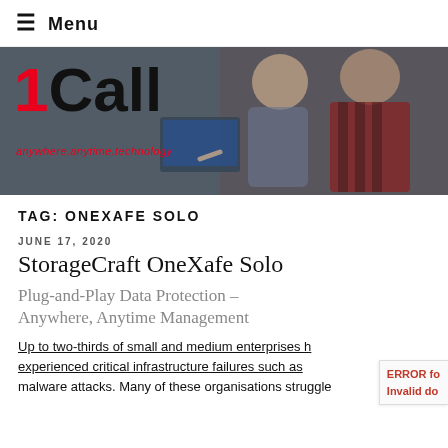≡ Menu
[Figure (photo): Hero banner photo showing two people (a woman and a man) looking at a computer screen. The 1Call logo is overlaid on the left: a red '1' followed by 'Call' in black, with the tagline 'anywhere.anytime.technology' in red italic below.]
TAG: ONEXAFE SOLO
JUNE 17, 2020
StorageCraft OneXafe Solo
Plug-and-Play Data Protection – Anywhere, Anytime Management
Up to two-thirds of small and medium enterprises have experienced critical infrastructure failures such as malware attacks. Many of these organisations struggle